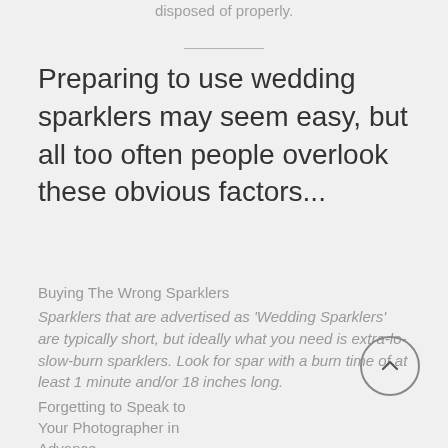disposed of properly.
Preparing to use wedding sparklers may seem easy, but all too often people overlook these obvious factors...
Buying The Wrong Sparklers
Sparklers that are advertised as 'Wedding Sparklers' are typically short, but ideally what you need is extra-long, slow-burn sparklers. Look for sparklers with a burn time of at least 1 minute and/or 18 inches long.
Forgetting to Speak to Your Photographer in Advance